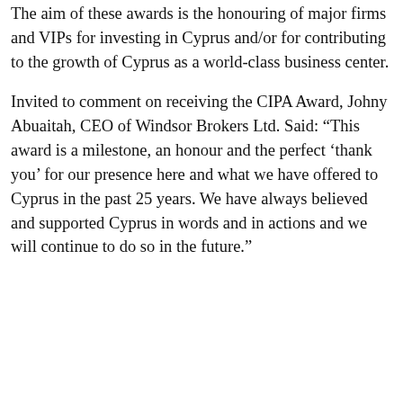The aim of these awards is the honouring of major firms and VIPs for investing in Cyprus and/or for contributing to the growth of Cyprus as a world-class business center.
Invited to comment on receiving the CIPA Award, Johny Abuaitah, CEO of Windsor Brokers Ltd. Said: “This award is a milestone, an honour and the perfect ‘thank you’ for our presence here and what we have offered to Cyprus in the past 25 years. We have always believed and supported Cyprus in words and in actions and we will continue to do so in the future.”